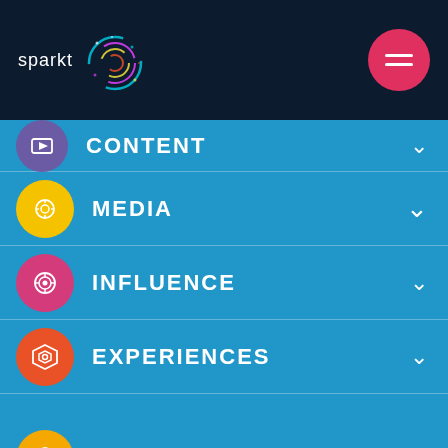[Figure (logo): Sparkt logo with colorful circular graphic and text 'sparkt' on dark navy background]
CONTENT
MEDIA
INFLUENCE
EXPERIENCES
CONSULTING
MARKETING SCIENCES
TECHNOLOGY (partial)